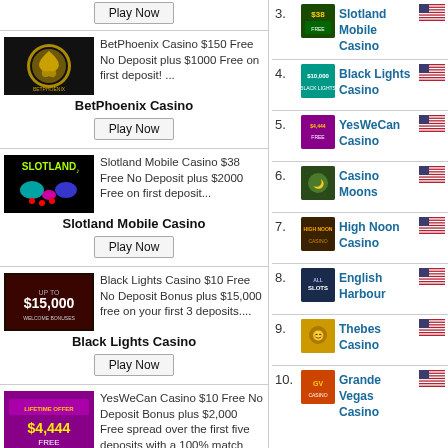Play Now (top partial button)
[Figure (photo): BetPhoenix Casino logo - black background with gold phoenix circle]
BetPhoenix Casino $150 Free No Deposit plus $1000 Free on first deposit! ...
BetPhoenix Casino
Play Now
[Figure (photo): Slotland Mobile Casino logo - black background with colorful neon slots branding]
Slotland Mobile Casino $38 Free No Deposit plus $2000 Free on first deposit...
Slotland Mobile Casino
Play Now
[Figure (photo): Black Lights Casino logo - dark background with $15,000 Welcome Bonuses text]
Black Lights Casino $10 Free No Deposit Bonus plus $15,000 free on your first 3 deposits....
Black Lights Casino
Play Now
[Figure (photo): YesWeCan Casino - purple background, Lifetime Offer $4,444 FREE text]
YesWeCan Casino $10 Free No Deposit Bonus plus $2,000 Free spread over the first five deposits with a 100% match
YesWeCan Casino
3. Slotland Mobile Casino
4. Black Lights Casino
5. YesWeCan Casino
6. Casino Moons
7. High Noon Casino
8. English Harbour
9. Thebes Casino
10. Grande Vegas Casino